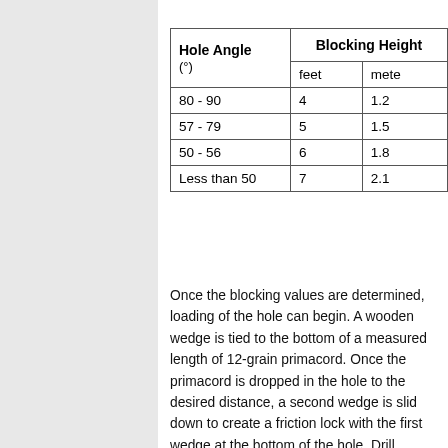| Hole Angle (°) | Blocking Height (feet) | Blocking Height (meters) |
| --- | --- | --- |
| 80 - 90 | 4 | 1.2 |
| 57 - 79 | 5 | 1.5 |
| 50 - 56 | 6 | 1.8 |
| Less than 50 | 7 | 2.1 |
Once the blocking values are determined, loading of the hole can begin. A wooden wedge is tied to the bottom of a measured length of 12-grain primacord. Once the primacord is dropped in the hole to the desired distance, a second wedge is slid down to create a friction lock with the first wedge at the bottom of the hole. Drill cuttings and small rocks are then dropped on top of the wedge, in order to seal the space around the wedges and create a platform for the explosives. The holes are loaded with 30 pound cartridges of water gel. A